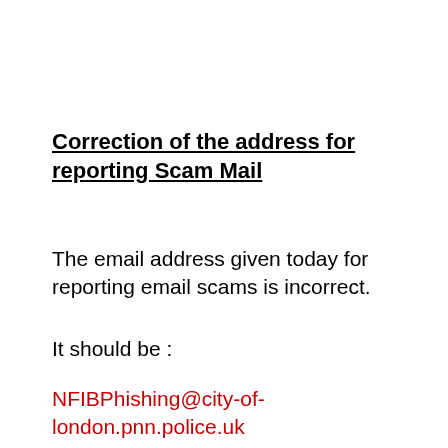Correction of the address for reporting Scam Mail
The email address given today for reporting email scams is incorrect.
It should be :
NFIBPhishing@city-of-london.pnn.police.uk